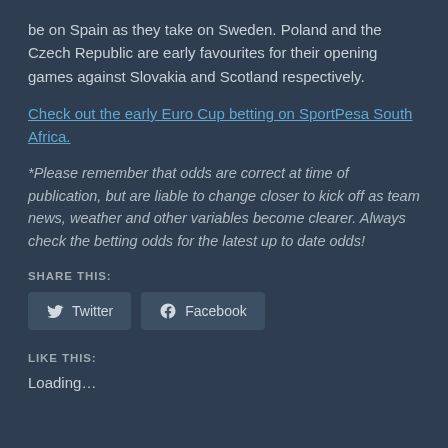be on Spain as they take on Sweden. Poland and the Czech Republic are early favourites for their opening games against Slovakia and Scotland respectively.
Check out the early Euro Cup betting on SportPesa South Africa.
*Please remember that odds are correct at time of publication, but are liable to change closer to kick off as team news, weather and other variables become clearer. Always check the betting odds for the latest up to date odds!
SHARE THIS:
Twitter Facebook
LIKE THIS:
Loading…